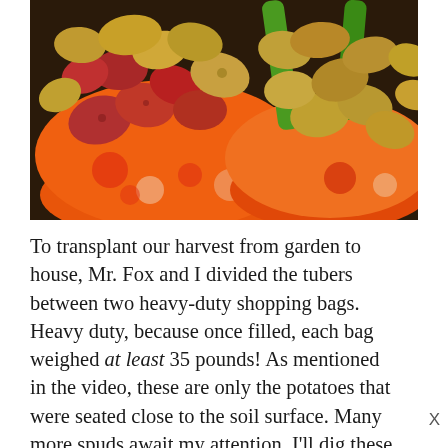[Figure (photo): Overhead photo of two colorful shopping bags (orange patterned with red tomatoes and a green-and-orange bag) filled with mixed potatoes — red-skinned, yellow, and brown — placed on a dark surface.]
To transplant our harvest from garden to house, Mr. Fox and I divided the tubers between two heavy-duty shopping bags. Heavy duty, because once filled, each bag weighed at least 35 pounds! As mentioned in the video, these are only the potatoes that were seated close to the soil surface. Many more spuds await my attention. I'll dig these extras in early October, when my creepy cellar is cool enough